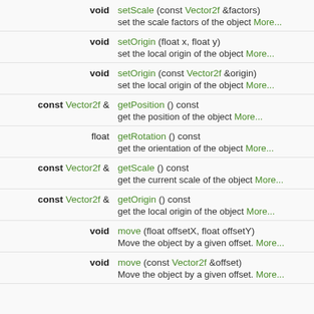| Return type | Method signature + description |
| --- | --- |
| void | setScale (const Vector2f &factors)
set the scale factors of the object More... |
| void | setOrigin (float x, float y)
set the local origin of the object More... |
| void | setOrigin (const Vector2f &origin)
set the local origin of the object More... |
| const Vector2f & | getPosition () const
get the position of the object More... |
| float | getRotation () const
get the orientation of the object More... |
| const Vector2f & | getScale () const
get the current scale of the object More... |
| const Vector2f & | getOrigin () const
get the local origin of the object More... |
| void | move (float offsetX, float offsetY)
Move the object by a given offset. More... |
| void | move (const Vector2f &offset)
Move the object by a given offset. More... |